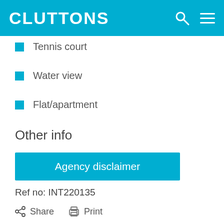CLUTTONS
Tennis court
Water view
Flat/apartment
Other info
Agency disclaimer
Ref no: INT220135
Share  Print